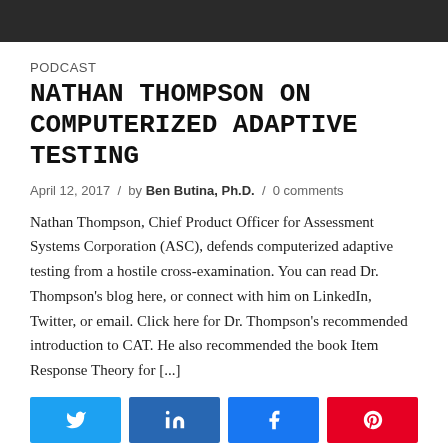[Figure (photo): Dark background photo at top of page, partially visible]
PODCAST
NATHAN THOMPSON ON COMPUTERIZED ADAPTIVE TESTING
April 12, 2017  /  by Ben Butina, Ph.D.  /  0 comments
Nathan Thompson, Chief Product Officer for Assessment Systems Corporation (ASC), defends computerized adaptive testing from a hostile cross-examination. You can read Dr. Thompson's blog here, or connect with him on LinkedIn, Twitter, or email. Click here for Dr. Thompson's recommended introduction to CAT. He also recommended the book Item Response Theory for [...]
[Figure (infographic): Four social media share buttons: Twitter (blue), LinkedIn (dark blue), Facebook (blue), Pinterest (red)]
CONTINUE READING